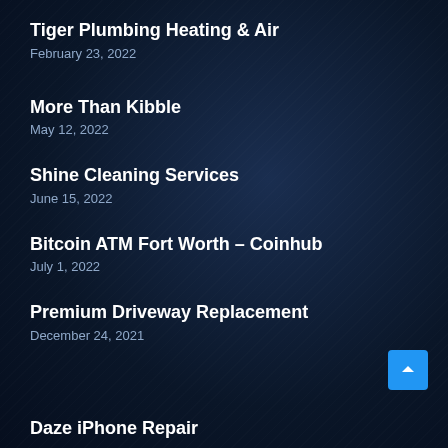Tiger Plumbing Heating & Air
February 23, 2022
More Than Kibble
May 12, 2022
Shine Cleaning Services
June 15, 2022
Bitcoin ATM Fort Worth – Coinhub
July 1, 2022
Premium Driveway Replacement
December 24, 2021
Daze iPhone Repair